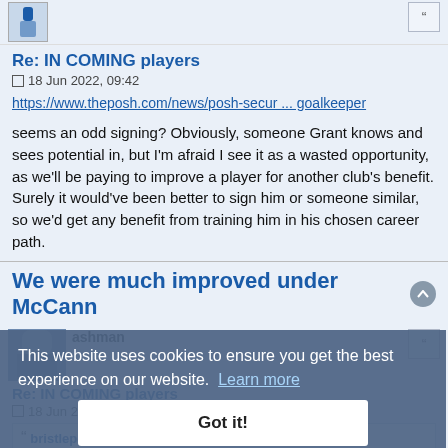[Figure (other): Avatar image placeholder (blue/white)]
Re: IN COMING players
18 Jun 2022, 09:42
https://www.theposh.com/news/posh-secur ... goalkeeper
seems an odd signing? Obviously, someone Grant knows and sees potential in, but I'm afraid I see it as a wasted opportunity, as we'll be paying to improve a player for another club's benefit. Surely it would've been better to sign him or someone similar, so we'd get any benefit from training him in his chosen career path.
We were much improved under McCann
ashman
Re: IN COMING players
18 Jun 2022, 09:52
bristleposh wrote: ↑
https://www.theposh.com/news/posh-secur ... goalkeeper
This website uses cookies to ensure you get the best experience on our website.  Learn more
Got it!